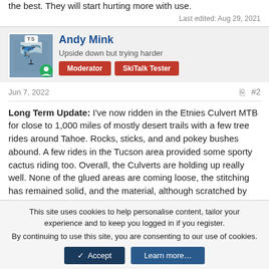the best. They will start hurting more with use.
Last edited: Aug 29, 2021
[Figure (photo): User avatar for Andy Mink showing an upside-down skier photo with TS badge and online indicator icon]
Andy Mink
Upside down but trying harder
Moderator  SkiTalk Tester
Jun 7, 2022
#2
Long Term Update: I've now ridden in the Etnies Culvert MTB for close to 1,000 miles of mostly desert trails with a few tree rides around Tahoe. Rocks, sticks, and and pokey bushes abound. A few rides in the Tucson area provided some sporty cactus riding too. Overall, the Culverts are holding up really well. None of the glued areas are coming loose, the stitching has remained solid, and the material, although scratched by brush and rocks, has not been cut. A couple of solid toe bashes and a
This site uses cookies to help personalise content, tailor your experience and to keep you logged in if you register.
By continuing to use this site, you are consenting to our use of cookies.
Accept  Learn more...